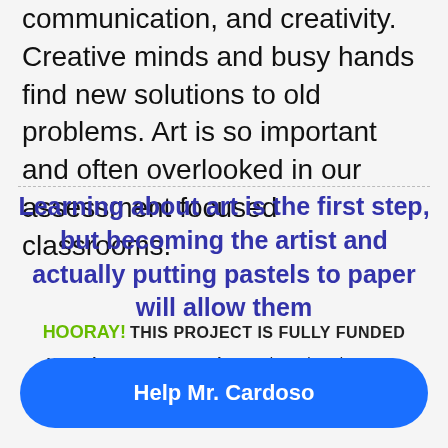communication, and creativity. Creative minds and busy hands find new solutions to old problems. Art is so important and often overlooked in our assessment focused classrooms.
Learning about art is the first step, but becoming the artist and actually putting pastels to paper will allow them
HOORAY! THIS PROJECT IS FULLY FUNDED
Keep the momentum going! Make a donation to Mr. Cardoso for his next project!
Help Mr. Cardoso